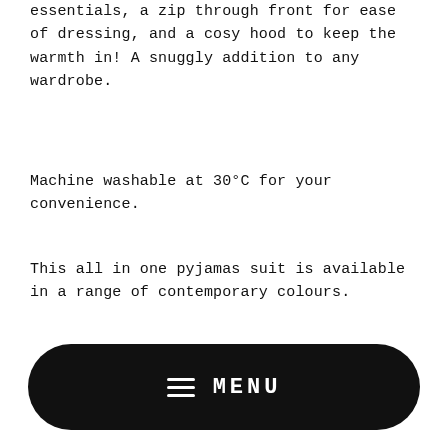essentials, a zip through front for ease of dressing, and a cosy hood to keep the warmth in! A snuggly addition to any wardrobe.
Machine washable at 30°C for your convenience.
This all in one pyjamas suit is available in a range of contemporary colours.
[Figure (other): Black rounded rectangle button with hamburger menu icon and MENU text in white]